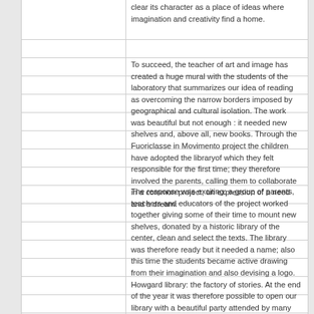clear its character as a place of ideas where imagination and creativity find a home.
To succeed, the teacher of art and image has created a huge mural with the students of the laboratory that summarizes our idea of reading as overcoming the narrow borders imposed by geographical and cultural isolation. The work was beautiful but not enough : it needed new shelves and, above all, new books. Through the Fuoriclasse in Movimento project the children have adopted the libraryof which they felt responsible for the first time; they therefore involved the parents, calling them to collaborate in a common project, an expression of a need and a dream.
The response was exciting: a group of parents, teachers and educators of the project worked together giving some of their time to mount new shelves, donated by a historic library of the center, clean and select the texts. The library was therefore ready but it needed a name; also this time the students became active drawing from their imagination and also devising a logo. Howgard library: the factory of stories. At the end of the year it was therefore possible to open our library with a beautiful party attended by many pupils and parents, happy to have been protagonists of a beautiful story with a happy ending ".